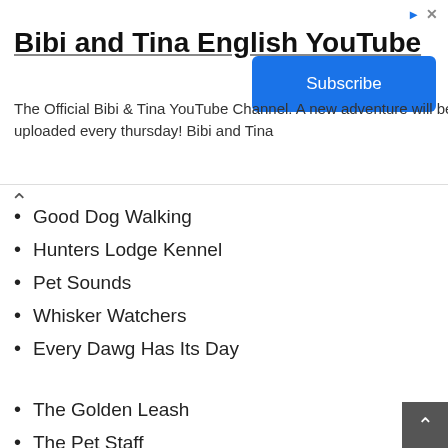[Figure (screenshot): YouTube channel ad banner for 'Bibi and Tina English YouTube' with a Subscribe button]
Good Dog Walking
Hunters Lodge Kennel
Pet Sounds
Whisker Watchers
Every Dawg Has Its Day
The Golden Leash
The Pet Staff
Curb Your Pooch
K9 Vacation
Paws to Pavement